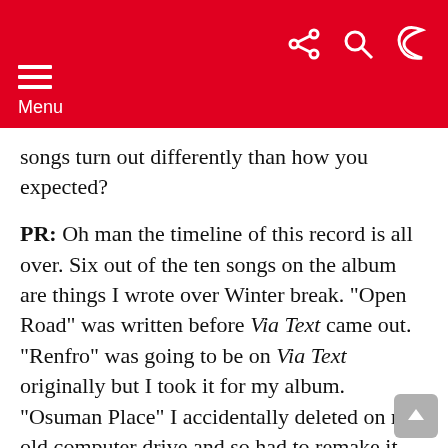Menu
songs turn out differently than how you expected?
PR: Oh man the timeline of this record is all over. Six out of the ten songs on the album are things I wrote over Winter break. “Open Road” was written before Via Text came out. “Renfro” was going to be on Via Text originally but I took it for my album. “Osuman Place” I accidentally deleted on my old computer drive and so had to remake it from scratch. The first song, “Kimbo Slice,” is actually the last song I made. But while the creation process wasn’t super linear there was still a lot of intention behind it. I sat down and really thought through what I wanted to say and how I was gonna communicate it. I made a whole bunch of